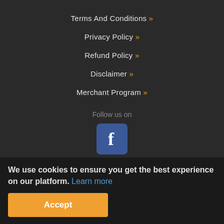Terms And Conditions »
Privacy Policy »
Refund Policy »
Disclaimer »
Merchant Program »
Follow us on
[Figure (logo): Facebook logo icon — white f on blue rounded square background]
[Figure (logo): LiveCards logo with orange LK chevron symbol, LIVE in orange and CARDS in white bold text, Recharge now tagline in italic]
[Figure (infographic): Row of payment method icons: Bitcoin, Bitpay, Ethereum, another crypto, email/Mailchimp, circular icon, credit card, VISA, MasterCard]
We use cookies to ensure you get the best experience on our platform. Learn more
Accept